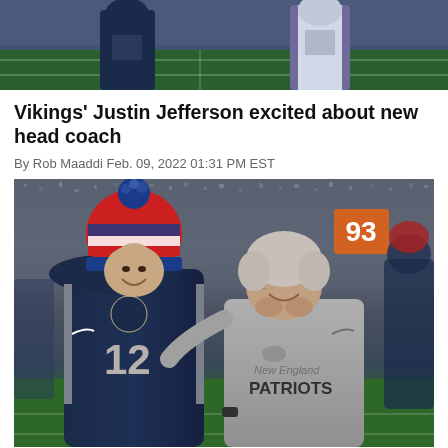[Figure (photo): Top partial photo showing football players on field, blue uniforms visible, cropped at top of page]
Vikings' Justin Jefferson excited about new head coach
By Rob Maaddi Feb. 09, 2022 01:31 PM EST
[Figure (photo): New England Patriots players and coach on sideline/field. Player wearing #12 Patriots jersey and red/blue/white winter knit hat smiling with older man in gray Patriots hoodie sweatshirt. Crowd visible in background.]